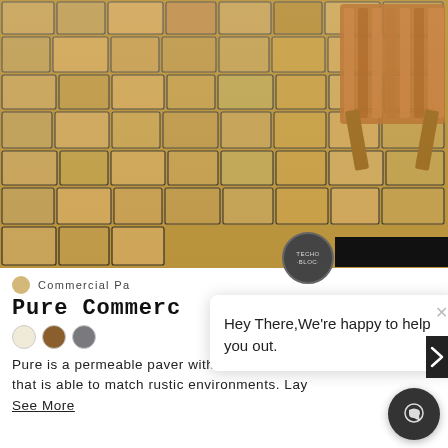[Figure (photo): Overhead photo of stone/brick permeable pavers in warm tan/terracotta tones with dark grout joints, with a wooden picnic table visible in the upper right corner, sunlit outdoor setting.]
Commercial Pa
Pure Commerc
Pure is a permeable paver with a traditional lo that is able to match rustic environments. Lay See More
Hey There,We're happy to help you out.